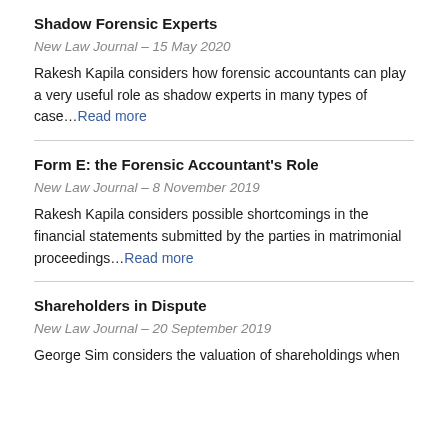Shadow Forensic Experts
New Law Journal – 15 May 2020
Rakesh Kapila considers how forensic accountants can play a very useful role as shadow experts in many types of case...Read more
Form E: the Forensic Accountant's Role
New Law Journal – 8 November 2019
Rakesh Kapila considers possible shortcomings in the financial statements submitted by the parties in matrimonial proceedings...Read more
Shareholders in Dispute
New Law Journal – 20 September 2019
George Sim considers the valuation of shareholdings when